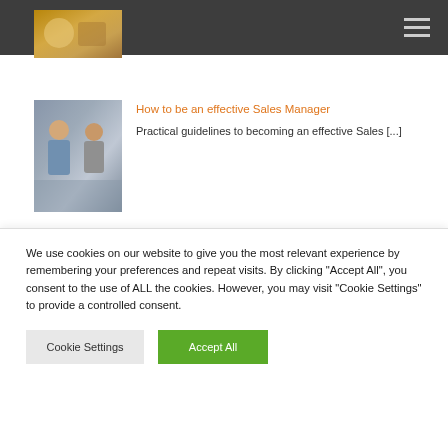[Figure (photo): Partial thumbnail image from previous article card, showing warm brown tones]
[Figure (photo): Two business professionals (a woman and a man) in discussion, likely a sales manager scenario]
How to be an effective Sales Manager
Practical guidelines to becoming an effective Sales [...]
[Figure (photo): Office or retail environment with shelving/storage visible]
How to create a successful annual company sales meeting
Needing to plan your next company sales meeting? Here [...]
We use cookies on our website to give you the most relevant experience by remembering your preferences and repeat visits. By clicking "Accept All", you consent to the use of ALL the cookies. However, you may visit "Cookie Settings" to provide a controlled consent.